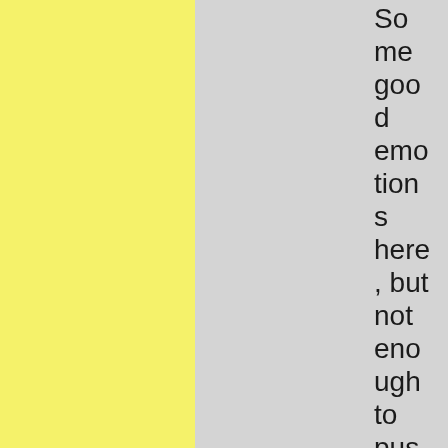Some good emotions here, but not enough to push it into HM territory.

Entenzahn -